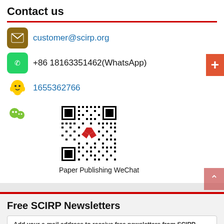Contact us
customer@scirp.org
+86 18163351462(WhatsApp)
1655362766
[Figure (other): WeChat QR code for Paper Publishing WeChat]
Paper Publishing WeChat
Free SCIRP Newsletters
Add your e-mail address to receive free newsletters from SCIRP.
E-mail address
Select Journal